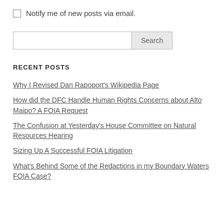Notify me of new posts via email.
Search
RECENT POSTS
Why I Revised Dan Rapoport's Wikipedia Page
How did the DFC Handle Human Rights Concerns about Alto Maipo? A FOIA Request
The Confusion at Yesterday's House Committee on Natural Resources Hearing
Sizing Up A Successful FOIA Litigation
What's Behind Some of the Redactions in my Boundary Waters FOIA Case?